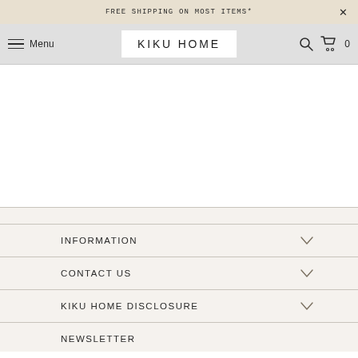FREE SHIPPING ON MOST ITEMS*
KIKU HOME  Menu  0
INFORMATION
CONTACT US
KIKU HOME DISCLOSURE
NEWSLETTER